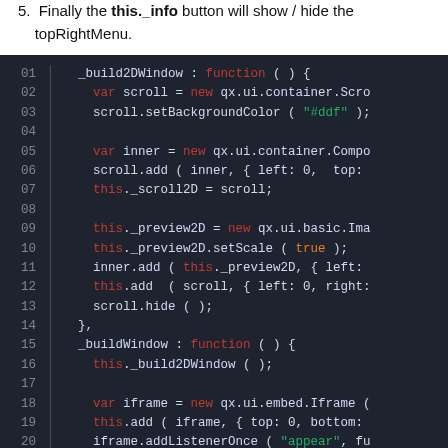5. Finally the this._info button will show / hide the topRightMenu.
[Figure (screenshot): Dark-themed code editor screenshot showing JavaScript code for _build2DWindow and _buildWindow functions, lines 01–21, with syntax highlighting: keywords in red/orange, strings in green, default code in light gray/white.]